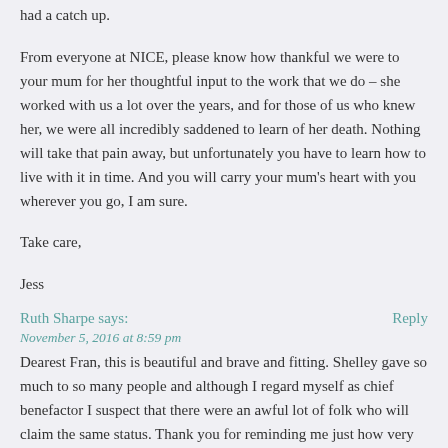had a catch up.
From everyone at NICE, please know how thankful we were to your mum for her thoughtful input to the work that we do – she worked with us a lot over the years, and for those of us who knew her, we were all incredibly saddened to learn of her death. Nothing will take that pain away, but unfortunately you have to learn how to live with it in time. And you will carry your mum's heart with you wherever you go, I am sure.
Take care,
Jess
Ruth Sharpe says:
November 5, 2016 at 8:59 pm
Dearest Fran, this is beautiful and brave and fitting. Shelley gave so much to so many people and although I regard myself as chief benefactor I suspect that there were an awful lot of folk who will claim the same status. Thank you for reminding me just how very special she was.
Kate says: